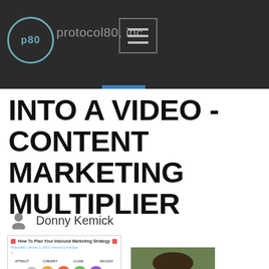p80 protocol80, inc.
INTO A VIDEO - CONTENT MARKETING MULTIPLIER
Donny Kemick
[Figure (screenshot): Screenshot of inbound marketing strategy blog post with funnel diagram]
[Figure (photo): Photo of a person outdoors with green background]
[Figure (logo): YouTube logo with arrow pointing to it]